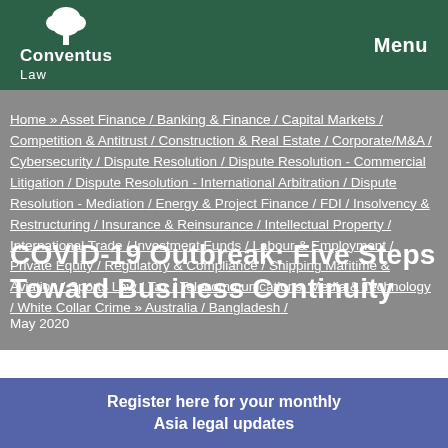Conventus Law | Menu
Home » Asset Finance / Banking & Finance / Capital Markets / Competition & Antitrust / Construction & Real Estate / Corporate/M&A / Cybersecurity / Dispute Resolution / Dispute Resolution - Commercial Litigation / Dispute Resolution - International Arbitration / Dispute Resolution - Mediation / Energy & Project Finance / FDI / Insolvency & Restructuring / Insurance & Reinsurance / Intellectual Property / International Trade / Investment Funds / Labour & Employment / Private Equity / Regulatory & Compliance / Shipping Maritime & Aviation / Sports Law / Tax / Telecommunications, Media & Technology / White Collar Crime » Australia / Bangladesh /
COVID-19 Outbreak: Five Steps Toward Business Continuity
May 2020
Register here for your monthly Asia legal updates